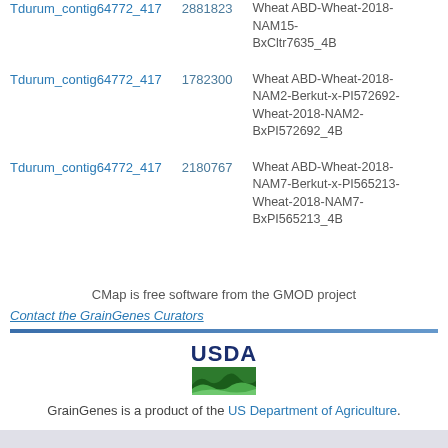| Marker/Feature | Position | Map |
| --- | --- | --- |
| Tdurum_contig64772_417 | 2881823 | Wheat ABD-Wheat-2018-NAM15-BxCltr7635_4B |
| Tdurum_contig64772_417 | 1782300 | Wheat ABD-Wheat-2018-NAM2-Berkut-x-PI572692-Wheat-2018-NAM2-BxPI572692_4B |
| Tdurum_contig64772_417 | 2180767 | Wheat ABD-Wheat-2018-NAM7-Berkut-x-PI565213-Wheat-2018-NAM7-BxPI565213_4B |
CMap is free software from the GMOD project
Contact the GrainGenes Curators
[Figure (logo): USDA logo with green landscape icon]
GrainGenes is a product of the US Department of Agriculture.